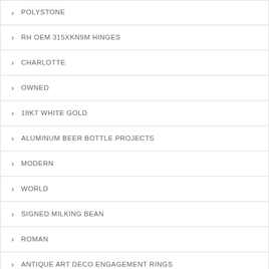POLYSTONE
RH OEM 315XKN9M HINGES
CHARLOTTE
OWNED
18KT WHITE GOLD
ALUMINUM BEER BOTTLE PROJECTS
MODERN
WORLD
SIGNED MILKING BEAN
ROMAN
ANTIQUE ART DECO ENGAGEMENT RINGS